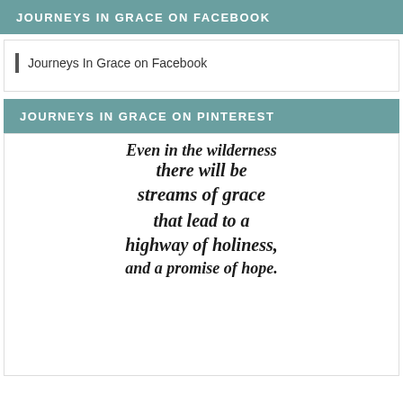JOURNEYS IN GRACE ON FACEBOOK
Journeys In Grace on Facebook
JOURNEYS IN GRACE ON PINTEREST
[Figure (illustration): Cursive/script text on white background reading: 'Even in the wilderness there will be streams of grace that lead to a highway of holiness, and a promise of hope.']